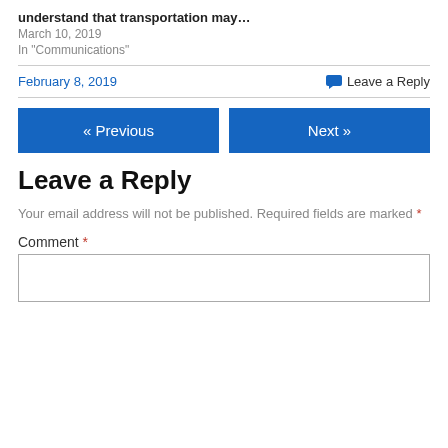understand that transportation may…
March 10, 2019
In "Communications"
February 8, 2019
Leave a Reply
« Previous
Next »
Leave a Reply
Your email address will not be published. Required fields are marked *
Comment *